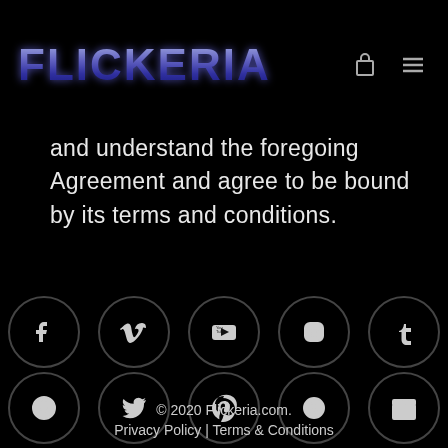FLICKERIA
and understand the foregoing Agreement and agree to be bound by its terms and conditions.
[Figure (other): Two rows of social media icon circles: Row 1: Facebook, Vimeo, YouTube, Instagram, Tumblr. Row 2: WordPress, Twitter, Pinterest, record/music, film clapper.]
© 2020 Flickeria.com. Privacy Policy | Terms & Conditions